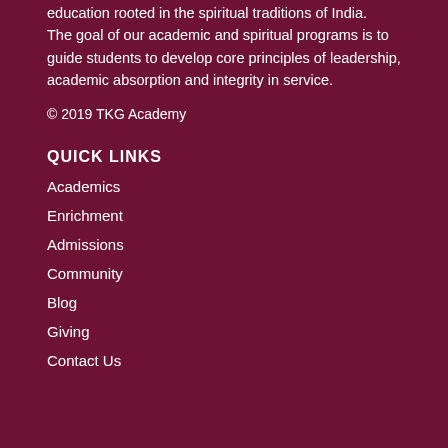education rooted in the spiritual traditions of India. The goal of our academic and spiritual programs is to guide students to develop core principles of leadership, academic absorption and integrity in service.
© 2019 TKG Academy
QUICK LINKS
Academics
Enrichment
Admissions
Community
Blog
Giving
Contact Us